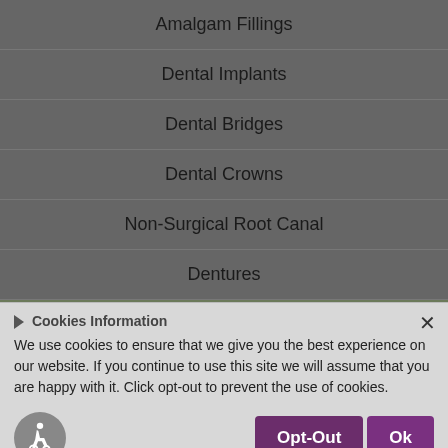Amalgam Fillings
Dental Implants
Dental Bridges
Dental Crowns
Non-Surgical Root Canal
Dentures
Immediate Dentures
Implant Retained Dentures
Partial Dentures
Denture Relines
Rebase & Repairs
Cookies Information
We use cookies to ensure that we give you the best experience on our website. If you continue to use this site we will assume that you are happy with it. Click opt-out to prevent the use of cookies.